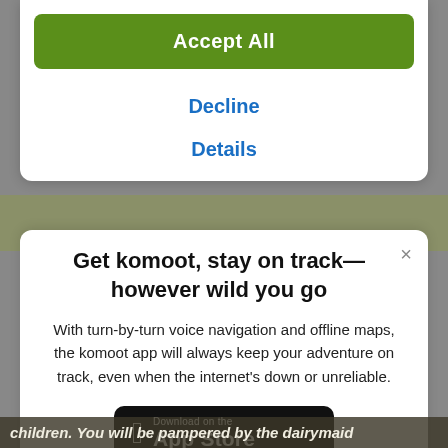Accept All
Decline
Details
Get komoot, stay on track—however wild you go
With turn-by-turn voice navigation and offline maps, the komoot app will always keep your adventure on track, even when the internet's down or unreliable.
[Figure (screenshot): Download on the App Store button]
children. You will be pampered by the dairymaid